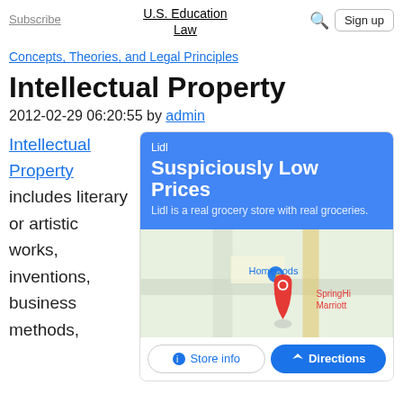Subscribe | U.S. Education Law | Sign up
Concepts, Theories, and Legal Principles
Intellectual Property
2012-02-29 06:20:55 by admin
Intellectual Property includes literary or artistic works, inventions, business methods,
[Figure (other): Lidl advertisement showing blue banner with 'Suspiciously Low Prices', map view, Store info and Directions buttons]